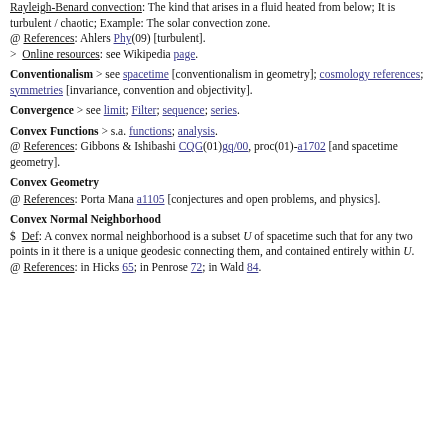Rayleigh-Benard convection: The kind that arises in a fluid heated from below; It is turbulent / chaotic; Example: The solar convection zone.
@ References: Ahlers Phy(09) [turbulent].
> Online resources: see Wikipedia page.
Conventionalism > see spacetime [conventionalism in geometry]; cosmology references; symmetries [invariance, convention and objectivity].
Convergence > see limit; Filter; sequence; series.
Convex Functions > s.a. functions; analysis.
@ References: Gibbons & Ishibashi CQG(01)gq/00, proc(01)-a1702 [and spacetime geometry].
Convex Geometry
@ References: Porta Mana a1105 [conjectures and open problems, and physics].
Convex Normal Neighborhood
$ Def: A convex normal neighborhood is a subset U of spacetime such that for any two points in it there is a unique geodesic connecting them, and contained entirely within U.
@ References: in Hicks 65; in Penrose 72; in Wald 84.